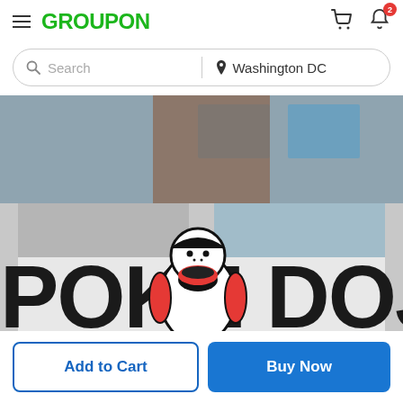GROUPON
Search | Washington DC
[Figure (photo): Storefront photo of Poke Dojo restaurant with large black text 'POKE DOJO' and a cartoon character logo on a white sign, reflecting a building in the background]
Add to Cart | Buy Now